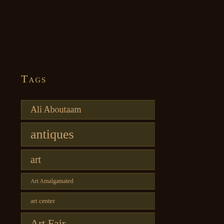Tags
Ali Aboutaam
antiques
art
Art Amalgamated
art center
Art Fair
art galleries
art gallery
artlog